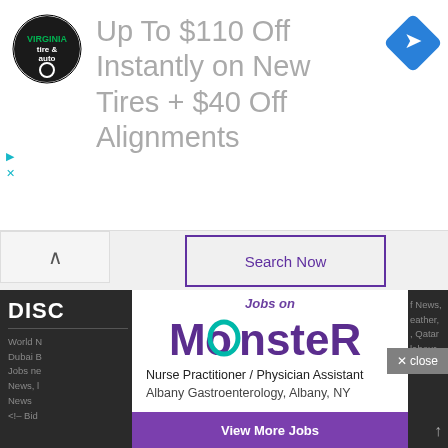[Figure (screenshot): Advertisement banner: Virginia Tire & Auto logo on left, blue navigation arrow icon on right, text 'Up To $110 Off Instantly on New Tires + $40 Off Alignments' in gray]
Search Now
✕ close
DISC
World N... / News, Dubai B... eather, Jobs ne... , Qatar News, ... labour News <!– Bid...
Jobs on MONSTER
Nurse Practitioner / Physician Assistant
Albany Gastroenterology, Albany, NY
Transportation and Athletic Director
Mercer School District, Mercer, PA
Paralegal
Company Confidential, BLUE BELL, PA
View More Jobs